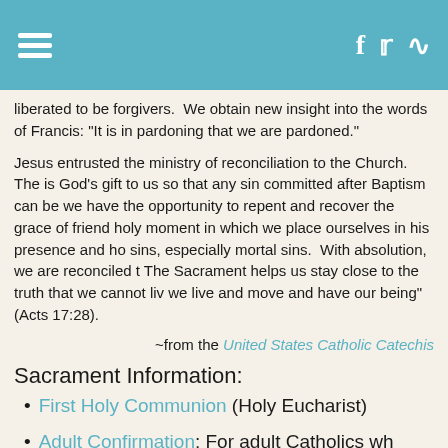[Navigation header with hamburger menu and social icons: Facebook, Twitter, RSS]
liberated to be forgivers.  We obtain new insight into the words of Francis: "It is in pardoning that we are pardoned."
Jesus entrusted the ministry of reconciliation to the Church.  The is God's gift to us so that any sin committed after Baptism can be we have the opportunity to repent and recover the grace of friend holy moment in which we place ourselves in his presence and ho sins, especially mortal sins.  With absolution, we are reconciled t The Sacrament helps us stay close to the truth that we cannot liv we live and move and have our being" (Acts 17:28).
~from the United States Catholic Catechis
Sacrament Information:
First Holy Communion (Holy Eucharist)
Adult Confirmation: For adult Catholics wh baptized and have received First Holy Co
Registration Form for Adult Confirmatio